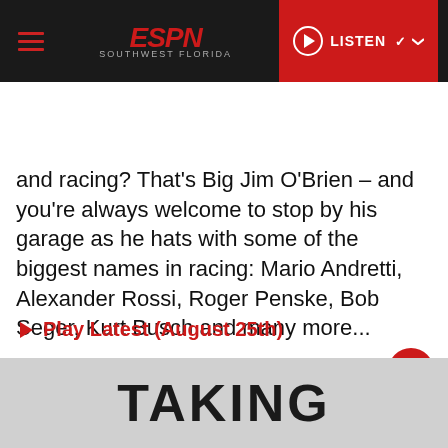[Figure (screenshot): ESPN Southwest Florida website header with hamburger menu, ESPN logo, and red LISTEN button]
[Figure (logo): Your Affiliate Station For banner with Tampa Bay Rays, Buccaneers, and Florida Gators logos]
and racing? That's Big Jim O'Brien – and you're always welcome to stop by his garage as he hats with some of the biggest names in racing: Mario Andretti, Alexander Rossi, Roger Penske, Bob Seger, Kurt Busch and many more...
Play Latest (August 25th)
220 EPISODES
[Figure (photo): Photo showing text TAKING on what appears to be a helmet or white surface]